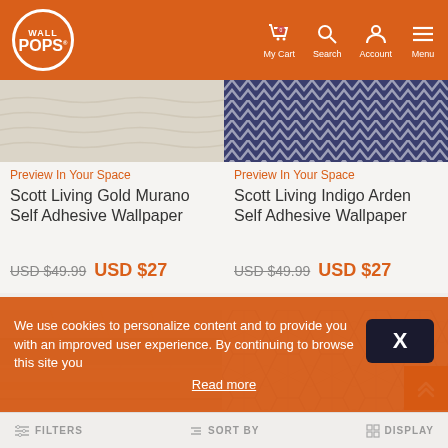Wall Pops! — My Cart, Search, Account, Menu
Preview In Your Space
Scott Living Gold Murano Self Adhesive Wallpaper
USD $49.99  USD $27
Preview In Your Space
Scott Living Indigo Arden Self Adhesive Wallpaper
USD $49.99  USD $27
[Figure (photo): Wood plank texture wallpaper sample]
[Figure (photo): Geometric woven pattern wallpaper sample]
We use cookies to personalize content and to provide you with an improved user experience. By continuing to browse this site you Read more